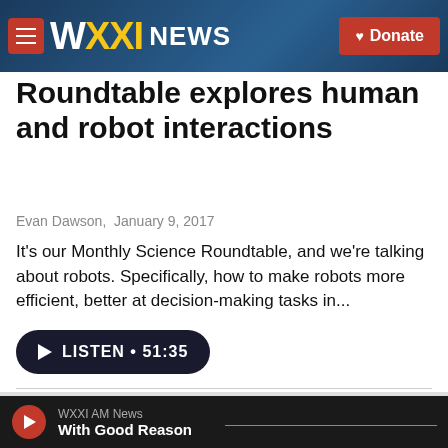WXXI NEWS | Donate
Roundtable explores human and robot interactions
Evan Dawson,  January 9, 2017
It's our Monthly Science Roundtable, and we're talking about robots. Specifically, how to make robots more efficient, better at decision-making tasks in...
[Figure (other): Listen button: play icon followed by LISTEN • 51:35]
[Figure (photo): Thumbnail image showing partial WXXI branding with blue letters and a photo of a man in a suit smiling]
WXXI AM News | With Good Reason